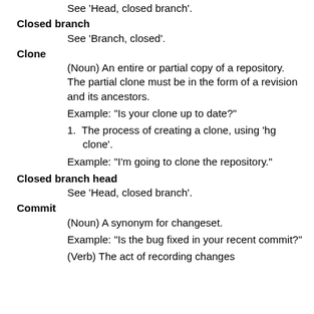See 'Head, closed branch'.
Closed branch
    See 'Branch, closed'.
Clone
    (Noun) An entire or partial copy of a repository. The partial clone must be in the form of a revision and its ancestors.

    Example: "Is your clone up to date?"

    1. The process of creating a clone, using 'hg clone'.

    Example: "I'm going to clone the repository."
Closed branch head
    See 'Head, closed branch'.
Commit
    (Noun) A synonym for changeset.

    Example: "Is the bug fixed in your recent commit?"

    (Verb) The act of recording changes